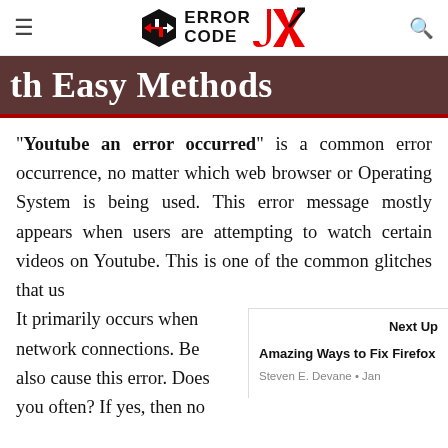≡  ERROR CODE [logo]  🔍
th Easy Methods
"Youtube an error occurred" is a common error occurrence, no matter which web browser or Operating System is being used. This error message mostly appears when users are attempting to watch certain videos on Youtube. This is one of the common glitches that us… It primarily occurs when network connections. Be… also cause this error. Does you often? If yes, then no
Next Up
Amazing Ways to Fix Firefox
Steven E. Devane • Jan